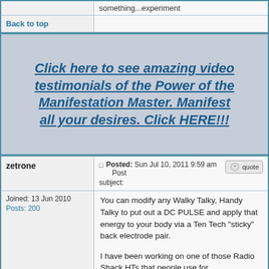something...experiment
Back to top
Click here to see amazing video testimonials of the Power of the Manifestation Master. Manifest all your desires. Click HERE!!!
zetrone
Posted: Sun Jul 10, 2011 9:59 am   Post subject:
Joined: 13 Jun 2010
Posts: 200
You can modify any Walky Talky, Handy Talky to put out a DC PULSE and apply that energy to your body via a Ten Tech "sticky" back electrode pair.

I have been working on one of those Radio Shack HTs that people use for communication now instead of a old bulky CB Walky Talky.

These radio shack units put out around 430 Mhz signal with FM modulation. The IDEA is to remove the antenna and attach a rectifying DIODE to the antenna port. The attached...